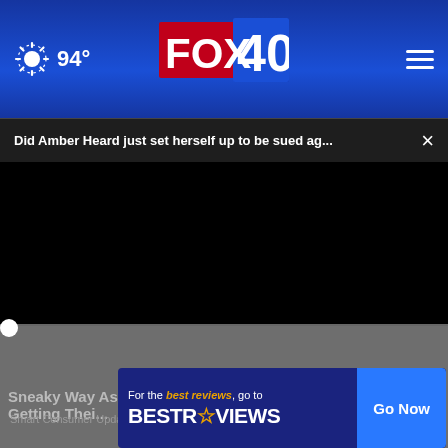94° FOX 40
Did Amber Heard just set herself up to be sued ag... ×
[Figure (screenshot): Black video player area with progress bar and playback controls showing 00:00 timestamp, play button, mute button, captions button, and fullscreen button]
Sneaky Way Ashburn Homeowners Are Getting Their ...
Smart Consumer Update
[Figure (infographic): Advertisement banner: For the best reviews, go to BESTREVIEWS with a Go Now button]